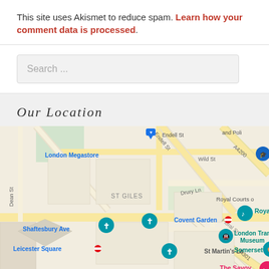This site uses Akismet to reduce spam. Learn how your comment data is processed.
Search ...
OUR LOCATION
[Figure (map): Google Maps view of central London showing Covent Garden area with landmarks including London Megastore, Royal Opera House, London Transport Museum, Somerset House, Leicester Square, and The Savoy hotel. Streets include Endell St, Wild St, Drury Ln, Shaftesbury Ave, Floral St, St Martin's Ln, Dean St.]